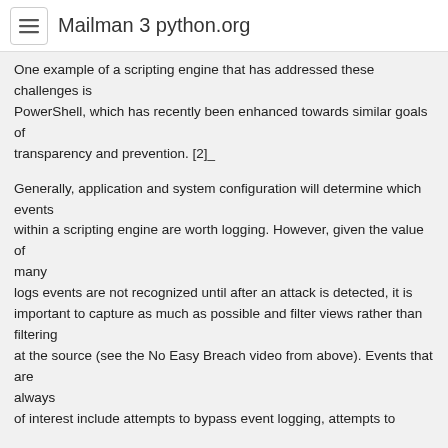Mailman 3 python.org
One example of a scripting engine that has addressed these challenges is PowerShell, which has recently been enhanced towards similar goals of transparency and prevention. [2]_
Generally, application and system configuration will determine which events within a scripting engine are worth logging. However, given the value of many logs events are not recognized until after an attack is detected, it is important to capture as much as possible and filter views rather than filtering at the source (see the No Easy Breach video from above). Events that are always of interest include attempts to bypass event logging, attempts to